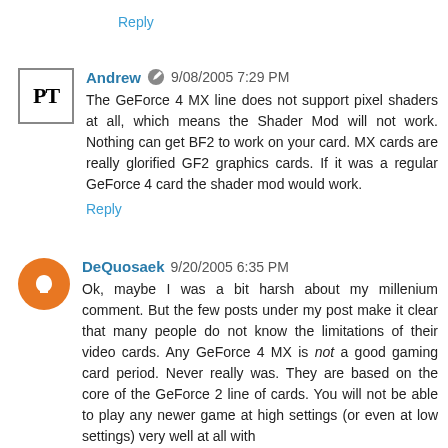Reply
Andrew 9/08/2005 7:29 PM
The GeForce 4 MX line does not support pixel shaders at all, which means the Shader Mod will not work. Nothing can get BF2 to work on your card. MX cards are really glorified GF2 graphics cards. If it was a regular GeForce 4 card the shader mod would work.
Reply
DeQuosaek 9/20/2005 6:35 PM
Ok, maybe I was a bit harsh about my millenium comment. But the few posts under my post make it clear that many people do not know the limitations of their video cards. Any GeForce 4 MX is not a good gaming card period. Never really was. They are based on the core of the GeForce 2 line of cards. You will not be able to play any newer game at high settings (or even at low settings) very well at all with